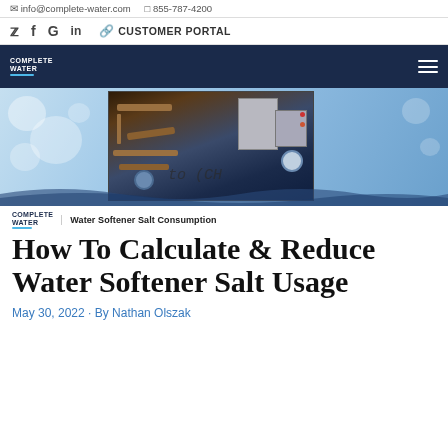info@complete-water.com  855-787-4200
Twitter  Facebook  Google  LinkedIn  CUSTOMER PORTAL
[Figure (screenshot): Dark navy navigation bar with Complete Water logo on left and hamburger menu icon on right]
[Figure (photo): Hero image showing water droplets background with industrial water treatment machinery/pipes in center, and chemical equation text overlay]
Water Softener Salt Consumption
How To Calculate & Reduce Water Softener Salt Usage
May 30, 2022 · By Nathan Olszak